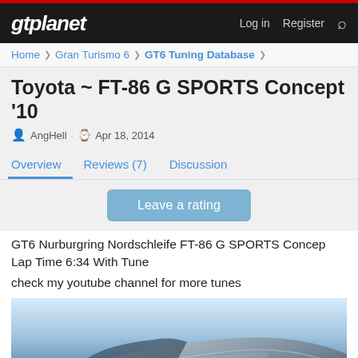gtplanet  Log in  Register
Home > Gran Turismo 6 > GT6 Tuning Database >
Toyota ~ FT-86 G SPORTS Concept '10
AngHell · Apr 18, 2014
Overview  Reviews (7)  Discussion
Leave a rating
GT6 Nurburgring Nordschleife FT-86 G SPORTS Concep Lap Time 6:34 With Tune
check my youtube channel for more tunes
[Figure (photo): Close-up front/hood view of a silver Toyota FT-86 G Sports Concept car on a racing circuit, low angle shot emphasizing the hood and headlights.]